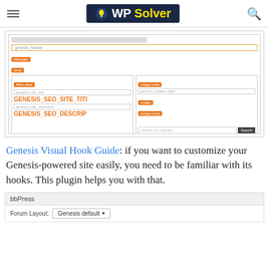WP Solver
[Figure (screenshot): Screenshot of Genesis Visual Hook Guide plugin showing genesis_header, site title, site description, and widget area hooks with orange labels in a WordPress admin layout]
Genesis Visual Hook Guide: if you want to customize your Genesis-powered site easily, you need to be familiar with its hooks. This plugin helps you with that.
[Figure (screenshot): bbPress settings panel showing Forum Layout option set to Genesis default with a dropdown selector]